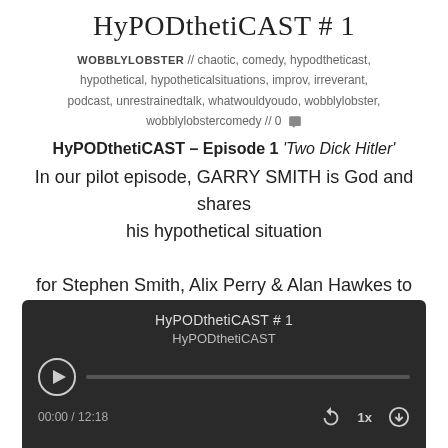HyPODthetiCAST # 1
WOBBLYLOBSTER // chaotic, comedy, hypodtheticast, hypothetical, hypotheticalsituations, improv, irreverant, podcast, unrestrainedtalk, whatwouldyoudo, wobblylobster, wobblylobstercomedy // 0 💬
HyPODthetiCAST – Episode 1 'Two Dick Hitler'
In our pilot episode, GARRY SMITH is God and shares his hypothetical situation for Stephen Smith, Alix Perry & Alan Hawkes to deal with.
[Figure (screenshot): Audio player widget with dark background showing HyPODthetiCAST #1 title, HyPODthetiCAST subtitle, play button, progress bar, timestamp 00:00 / 12:18, and playback controls including rewind, 1x speed, and download icons.]